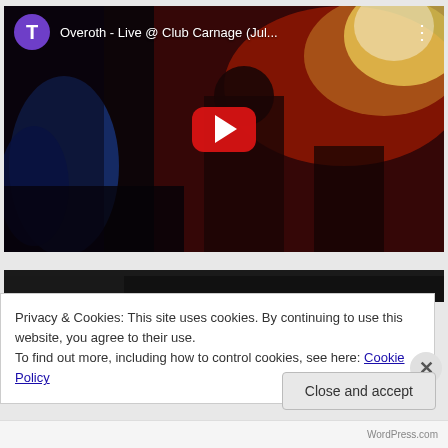[Figure (screenshot): YouTube video thumbnail showing 'Overoth - Live @ Club Carnage (Jul...' with a purple avatar circle with letter T, a red play button in the center, and a dark concert scene with red and blue lighting. Three vertical dots menu icon appears in top right.]
[Figure (screenshot): Partial strip of another YouTube video thumbnail visible below the first video, dark background.]
Privacy & Cookies: This site uses cookies. By continuing to use this website, you agree to their use.
To find out more, including how to control cookies, see here: Cookie Policy
Close and accept